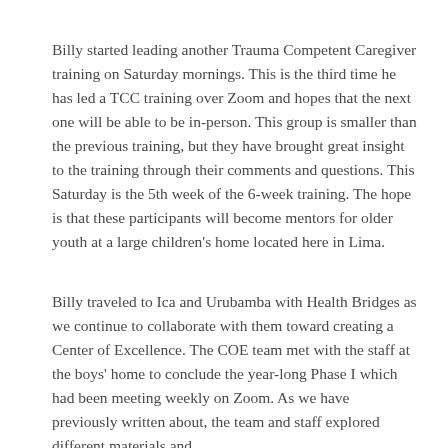Billy started leading another Trauma Competent Caregiver training on Saturday mornings. This is the third time he has led a TCC training over Zoom and hopes that the next one will be able to be in-person. This group is smaller than the previous training, but they have brought great insight to the training through their comments and questions. This Saturday is the 5th week of the 6-week training. The hope is that these participants will become mentors for older youth at a large children's home located here in Lima.
Billy traveled to Ica and Urubamba with Health Bridges as we continue to collaborate with them toward creating a Center of Excellence. The COE team met with the staff at the boys' home to conclude the year-long Phase I which had been meeting weekly on Zoom. As we have previously written about, the team and staff explored different materials and...